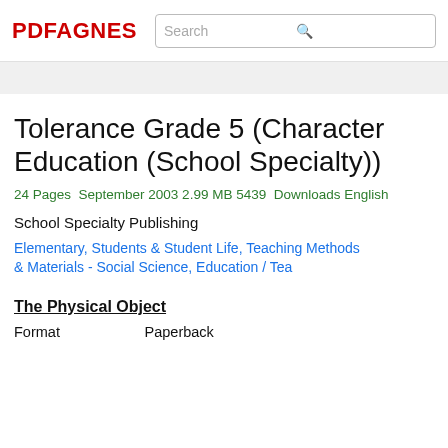PDFAGNES  Search
Tolerance Grade 5 (Character Education (School Specialty))
24 Pages September 2003 2.99 MB 5439 Downloads English
School Specialty Publishing
Elementary, Students & Student Life, Teaching Methods & Materials - Social Science, Education / Tea
The Physical Object
Format   Paperback